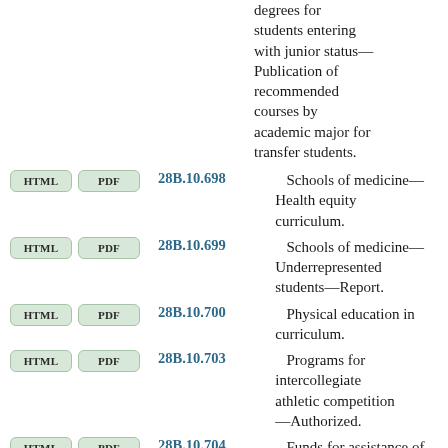degrees for students entering with junior status—Publication of recommended courses by academic major for transfer students.
28B.10.698 — Schools of medicine—Health equity curriculum.
28B.10.699 — Schools of medicine—Underrepresented students—Report.
28B.10.700 — Physical education in curriculum.
28B.10.703 — Programs for intercollegiate athletic competition—Authorized.
28B.10.704 — Funds for assistance of student participants